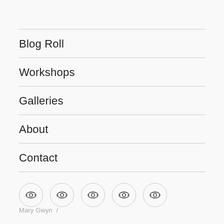Blog Roll
Workshops
Galleries
About
Contact
[Figure (other): Row of 5 social media icon buttons, each a circle with a stylized eye/lens icon inside]
Mary Gwyn  /